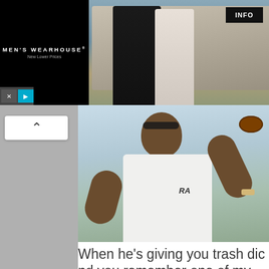[Figure (photo): Men's Wearhouse advertisement banner showing a couple in wedding attire and a man in a white suit, with INFO button]
[Figure (photo): Photo of a man in a white polo shirt (with RA logo) throwing a football outdoors]
When he's giving you trash dic and you remember one of my memes
[Figure (photo): Partial photo showing a person, bottom meme image]